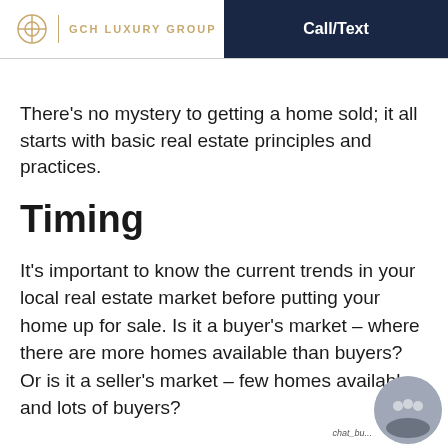GCH LUXURY GROUP | Call/Text
There's no mystery to getting a home sold; it all starts with basic real estate principles and practices.
Timing
It's important to know the current trends in your local real estate market before putting your home up for sale. Is it a buyer's market – where there are more homes available than buyers? Or is it a seller's market – few homes available and lots of buyers?